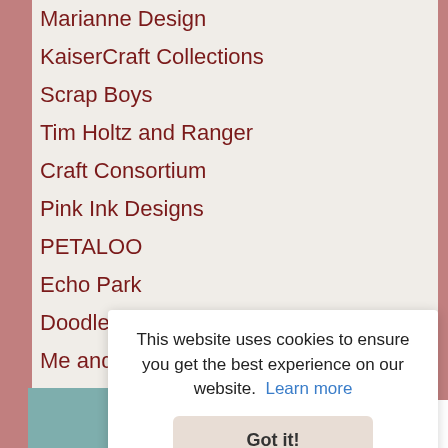Marianne Design
KaiserCraft Collections
Scrap Boys
Tim Holtz and Ranger
Craft Consortium
Pink Ink Designs
PETALOO
Echo Park
Doodlebug
Me and My BIG Ideas
MORE BRANDS
Inf...
This website uses cookies to ensure you get the best experience on our website.  Learn more
Got it!